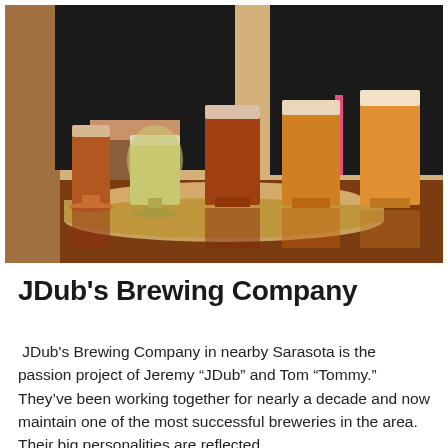[Figure (photo): Photo of several glasses of beer in different shades (amber, golden, pale) arranged on wooden flight boards on a bar counter, with two people in black t-shirts visible in the background.]
JDub's Brewing Company
JDub's Brewing Company in nearby Sarasota is the passion project of Jeremy “JDub” and Tom “Tommy.” They’ve been working together for nearly a decade and now maintain one of the most successful breweries in the area. Their big personalities are reflected